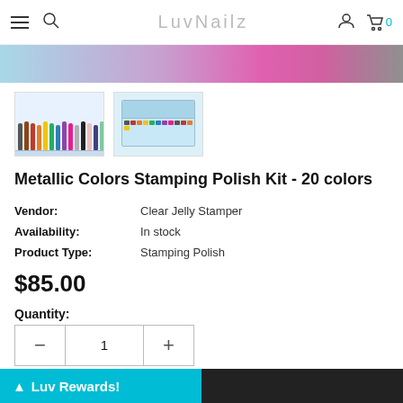LuvNailz navigation bar with hamburger menu, search, logo, user icon, and cart (0)
[Figure (photo): Hero banner strip showing nail polish and metallic pink background]
[Figure (photo): Thumbnail 1: nail polish bottles arranged in a row in a light blue tray]
[Figure (photo): Thumbnail 2: open box containing 20 stamping polish bottles]
Metallic Colors Stamping Polish Kit - 20 colors
Vendor: Clear Jelly Stamper
Availability: In stock
Product Type: Stamping Polish
$85.00
Quantity:
Luv Rewards!